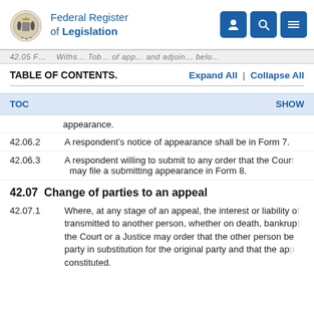Federal Register of Legislation
TABLE OF CONTENTS.   Expand All | Collapse All
TOC   SHOW
appearance.
42.06.2   A respondent's notice of appearance shall be in Form 7.
42.06.3   A respondent willing to submit to any order that the Court may file a submitting appearance in Form 8.
42.07  Change of parties to an appeal
42.07.1   Where, at any stage of an appeal, the interest or liability of a party is transmitted to another person, whether on death, bankruptcy or otherwise, the Court or a Justice may order that the other person be added as a party in substitution for the original party and that the appeal be so constituted.